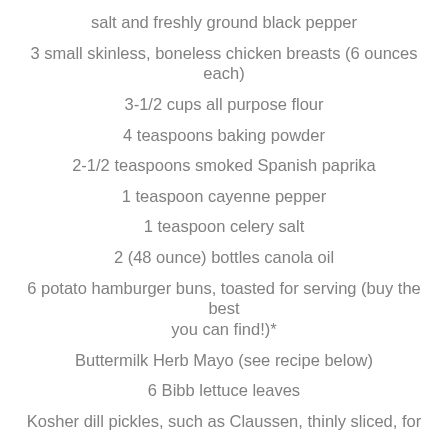salt and freshly ground black pepper
3 small skinless, boneless chicken breasts (6 ounces each)
3-1/2 cups all purpose flour
4 teaspoons baking powder
2-1/2 teaspoons smoked Spanish paprika
1 teaspoon cayenne pepper
1 teaspoon celery salt
2 (48 ounce) bottles canola oil
6 potato hamburger buns, toasted for serving (buy the best you can find!)*
Buttermilk Herb Mayo (see recipe below)
6 Bibb lettuce leaves
Kosher dill pickles, such as Claussen, thinly sliced, for